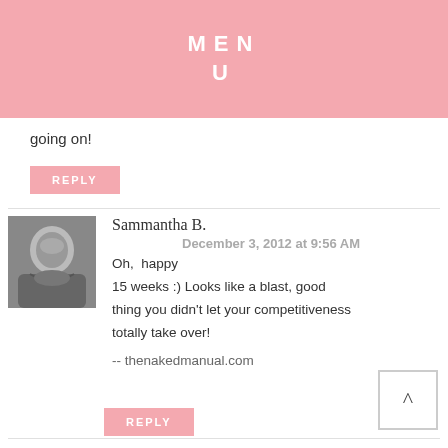MENU
going on!
REPLY
Sammantha B.
December 3, 2012 at 9:56 AM
Oh, happy 15 weeks :) Looks like a blast, good thing you didn't let your competitiveness totally take over!
-- thenakedmanual.com
REPLY
Anonymous